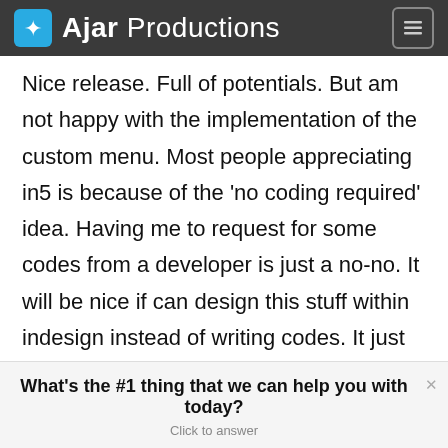Ajar Productions
Nice release. Full of potentials. But am not happy with the implementation of the custom menu. Most people appreciating in5 is because of the ‘no coding required’ idea. Having me to request for some codes from a developer is just a no-no. It will be nice if can design this stuff within indesign instead of writing codes. It just defeats the purpose. I think in5 is beginning to lose focus and
What’s the #1 thing that we can help you with today? Click to answer